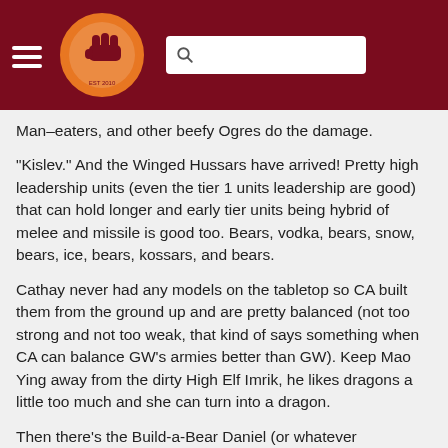THE KEY PLAY — navigation header with logo and search bar
Man-eaters, and other beefy Ogres do the damage.
"Kislev." And the Winged Hussars have arrived! Pretty high leadership units (even the tier 1 units leadership are good) that can hold longer and early tier units being hybrid of melee and missile is good too. Bears, vodka, bears, snow, bears, ice, bears, kossars, and bears.
Cathay never had any models on the tabletop so CA built them from the ground up and are pretty balanced (not too strong and not too weak, that kind of says something when CA can balance GW's armies better than GW). Keep Mao Ying away from the dirty High Elf Imrik, he likes dragons a little too much and she can turn into a dragon.
Then there's the Build-a-Bear Daniel (or whatever